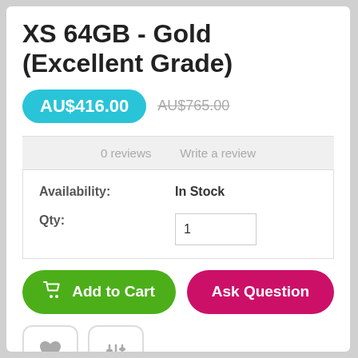XS 64GB - Gold (Excellent Grade)
AU$416.00  AU$765.00
0 reviews   Write a review
| Field | Value |
| --- | --- |
| Availability: | In Stock |
| Qty: | 1 |
Add to Cart   Ask Question
[Figure (other): Heart icon button and sliders/compare icon button]